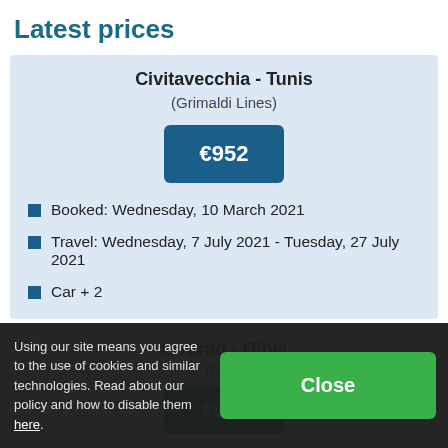Latest prices
Civitavecchia - Tunis
(Grimaldi Lines)
€952
Booked: Wednesday, 10 March 2021
Travel: Wednesday, 7 July 2021 - Tuesday, 27 July 2021
Car + 2
Livorno - Olbia
(Grim...
€678
Using our site means you agree to the use of cookies and similar technologies. Read about our policy and how to disable them here.
Close